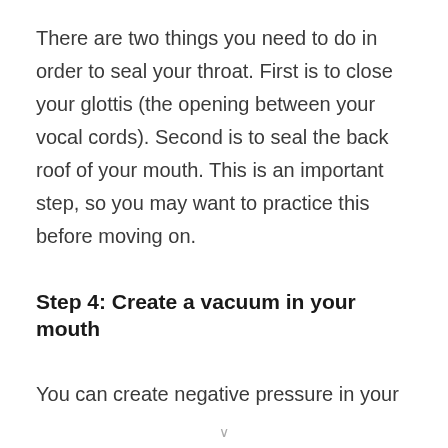There are two things you need to do in order to seal your throat. First is to close your glottis (the opening between your vocal cords). Second is to seal the back roof of your mouth. This is an important step, so you may want to practice this before moving on.
Step 4: Create a vacuum in your mouth
You can create negative pressure in your